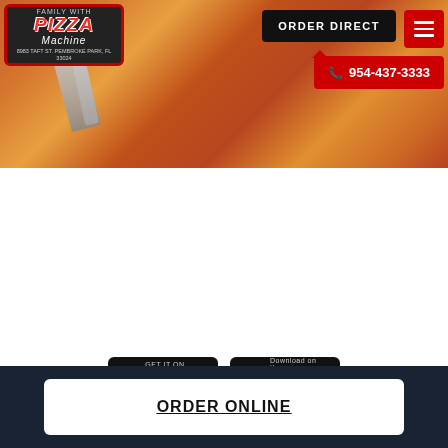[Figure (screenshot): Website header hero image showing pizza with fork and knife, with Pizza Machine logo, ORDER DIRECT button, hamburger menu, and phone number 954-437-3333]
[Figure (screenshot): Google Play and App Store download badges]
PIZZA, CATERING, PIZZA DELIVERY, AND ITALIAN RESTAURANTS IN COOPER CITY
[Figure (photo): Close-up photo of a pizza on wooden board with pizza cutter tool]
ORDER ONLINE